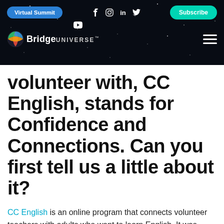Virtual Summit | Subscribe | Bridge Universe | Social icons
volunteer with, CC English, stands for Confidence and Connections. Can you first tell us a little about it?
CC English is an online program that connects volunteer teachers with adults who want to learn English. It was